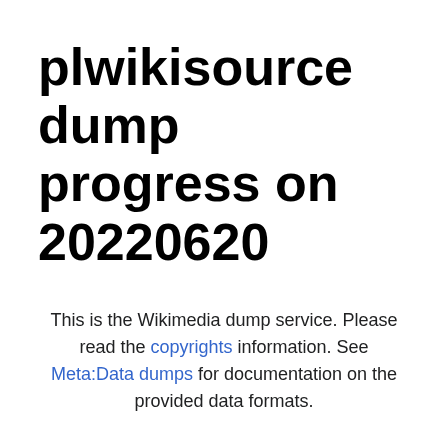plwikisource dump progress on 20220620
This is the Wikimedia dump service. Please read the copyrights information. See Meta:Data dumps for documentation on the provided data formats.
Older versions of the 7zip decoder on Windows are known to have problems with some bz2-format files for larger wikis; we recommend the use of bzip2 for